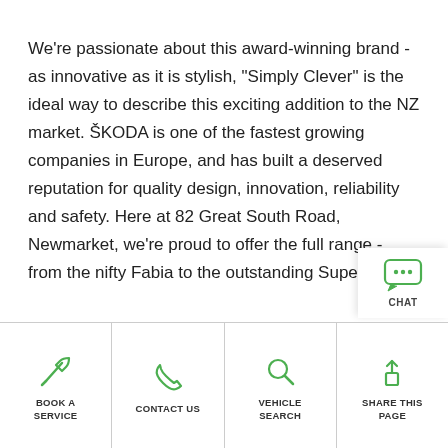We're passionate about this award-winning brand - as innovative as it is stylish, "Simply Clever" is the ideal way to describe this exciting addition to the NZ market. ŠKODA is one of the fastest growing companies in Europe, and has built a deserved reputation for quality design, innovation, reliability and safety. Here at 82 Great South Road, Newmarket, we're proud to offer the full range - from the nifty Fabia to the outstanding Superb.
[Figure (other): Chat button overlay with speech bubble icon and CHAT label]
[Figure (infographic): Footer navigation bar with four items: BOOK A SERVICE (wrench icon), CONTACT US (phone icon), VEHICLE SEARCH (magnifier icon), SHARE THIS PAGE (share icon)]